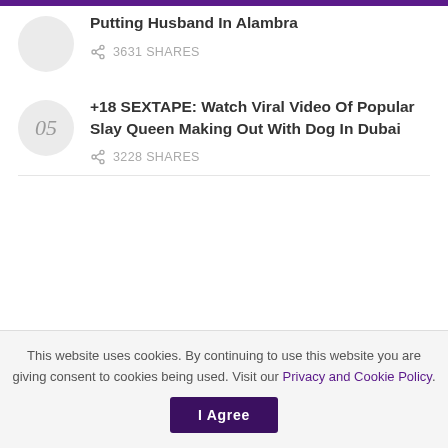Putting Husband In Alambra — 3631 SHARES
+18 SEXTAPE: Watch Viral Video Of Popular Slay Queen Making Out With Dog In Dubai — 3228 SHARES
This website uses cookies. By continuing to use this website you are giving consent to cookies being used. Visit our Privacy and Cookie Policy.  I Agree